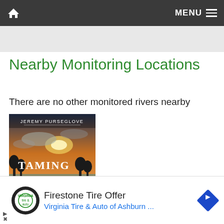Home  MENU
Nearby Monitoring Locations
There are no other monitored rivers nearby
[Figure (photo): Book cover: 'Taming the Flood' by Jeremy Purseglove. Shows a flooded landscape at sunset with trees silhouetted. Subtitle text: RIVERS WETLANDS]
Firestone Tire Offer
Virginia Tire & Auto of Ashburn ...